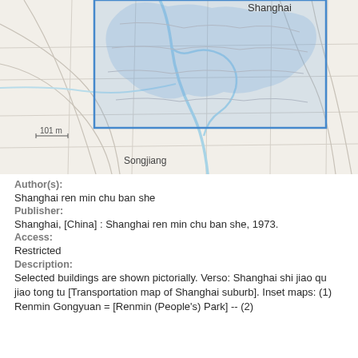[Figure (map): Map of Shanghai region showing city outline highlighted with a blue rectangle border and light blue fill over an OpenStreetMap-style base map. Labels include 'Shanghai' near top center, '101 m' scale indicator at lower left, and 'Songjiang' at bottom center-left. Road networks and waterways (rivers) are visible.]
Author(s):
Shanghai ren min chu ban she
Publisher:
Shanghai, [China] : Shanghai ren min chu ban she, 1973.
Access:
Restricted
Description:
Selected buildings are shown pictorially. Verso: Shanghai shi jiao qu jiao tong tu [Transportation map of Shanghai suburb]. Inset maps: (1) Renmin Gongyuan = [Renmin (People's) Park] -- (2)